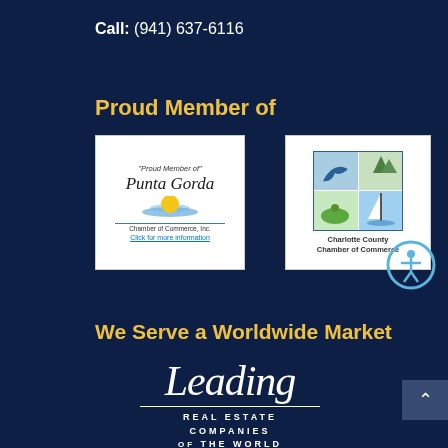Call: (941) 637-6116
Proud Member of
[Figure (logo): Punta Gorda Chamber of Commerce logo with sun and water design, text says 'Proud Member of' Punta Gorda Chamber of Commerce, Inc. with 'Click for more information' link]
[Figure (logo): Charlotte County Chamber of Commerce logo with four-quadrant grid showing dolphin, trees, golf/sailboat scenes]
[Figure (other): Accessibility icon button - circle with person figure]
We Serve a Worldwide Market
[Figure (logo): Leading Real Estate Companies of the World logo in white script and uppercase letters]
[Figure (other): Scroll to top button with upward caret arrow]